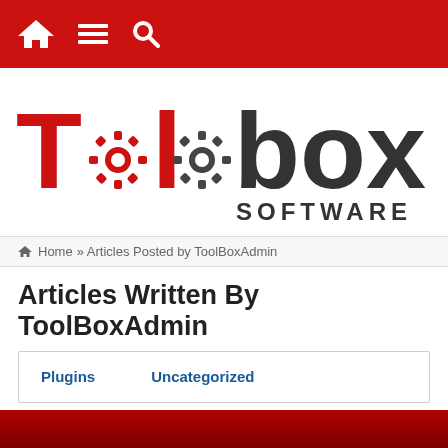Navigation bar with home, menu, and search icons
[Figure (logo): Toolbox Software logo: large stylized text 'Toolbox' with two gear icons replacing the two 'o' letters, colored red and dark gray, with 'SOFTWARE' beneath in dark gray bold text]
Home » Articles Posted by ToolBoxAdmin
Articles Written By ToolBoxAdmin
| Plugins | Uncategorized |
| --- | --- |